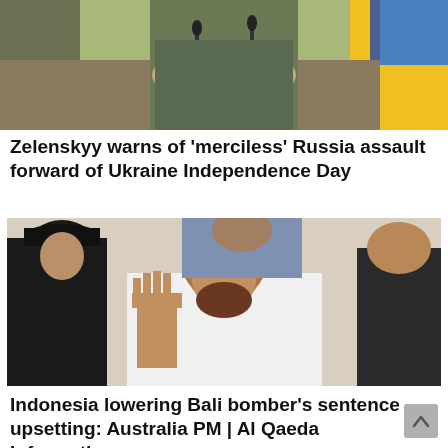[Figure (photo): Person in dark military-style clothing at a podium with microphones, in front of a yellow and blue background (Ukrainian flag colors)]
Zelenskyy warns of 'merciless' Russia assault forward of Ukraine Independence Day
[Figure (photo): Man in white garment raising his hand in a courtroom or official setting, flanked by a security officer in black uniform and others; appears to be an Indonesian legal proceeding]
Indonesia lowering Bali bomber's sentence upsetting: Australia PM | Al Qaeda Information